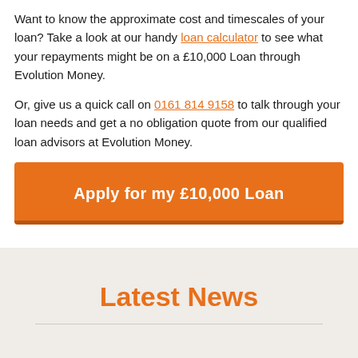Want to know the approximate cost and timescales of your loan? Take a look at our handy loan calculator to see what your repayments might be on a £10,000 Loan through Evolution Money.
Or, give us a quick call on 0161 814 9158 to talk through your loan needs and get a no obligation quote from our qualified loan advisors at Evolution Money.
[Figure (other): Orange call-to-action button labeled 'Apply for my £10,000 Loan']
Latest News